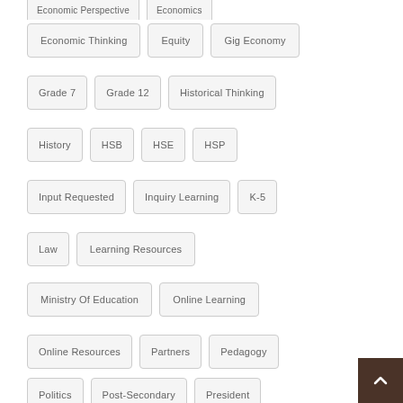Economic Perspective
Economics
Economic Thinking
Equity
Gig Economy
Grade 7
Grade 12
Historical Thinking
History
HSB
HSE
HSP
Input Requested
Inquiry Learning
K-5
Law
Learning Resources
Ministry Of Education
Online Learning
Online Resources
Partners
Pedagogy
Politics
Post-Secondary
President